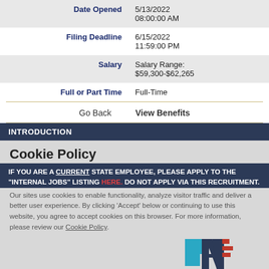| Field | Value |
| --- | --- |
| Date Opened | 5/13/2022
08:00:00 AM |
| Filing Deadline | 6/15/2022
11:59:00 PM |
| Salary | Salary Range:
$59,300-$62,265 |
| Full or Part Time | Full-Time |
Go Back   View Benefits
INTRODUCTION
Cookie Policy
IF YOU ARE A CURRENT STATE EMPLOYEE, PLEASE APPLY TO THE "INTERNAL JOBS" LISTING HERE. DO NOT APPLY VIA THIS RECRUITMENT.
Our sites use cookies to enable functionality, analyze visitor traffic and deliver a better user experience. By clicking 'Accept' below or continuing to use this website, you agree to accept cookies on this browser. For more information, please review our Cookie Policy.
Accept   Dismiss
[Figure (logo): Oklahoma Department of Veterans Affairs logo with stylized VA letters in teal and dark navy with red accent stripes]
OKLAHOMA DEPARTMENT OF VETERANS AFFAIRS